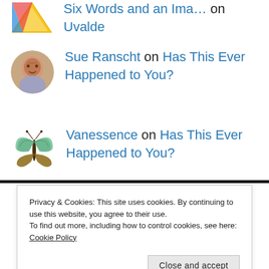Six Words and an Ima… on Uvalde
Sue Ranscht on Has This Ever Happened to You?
Vanessence on Has This Ever Happened to You?
Privacy & Cookies: This site uses cookies. By continuing to use this website, you agree to their use.
To find out more, including how to control cookies, see here: Cookie Policy
Close and accept
Advertisements